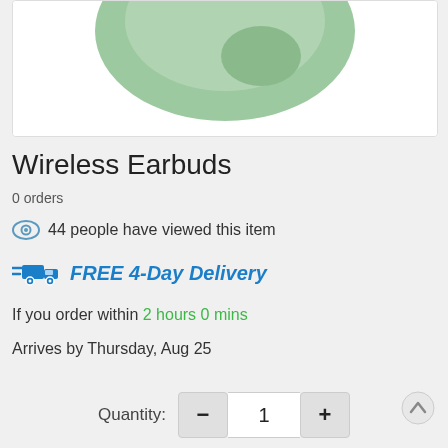[Figure (photo): Partial view of green wireless earbud against white background]
Wireless Earbuds
0 orders
44 people have viewed this item
FREE 4-Day Delivery
If you order within 2 hours 0 mins
Arrives by Thursday, Aug 25
Quantity: 1